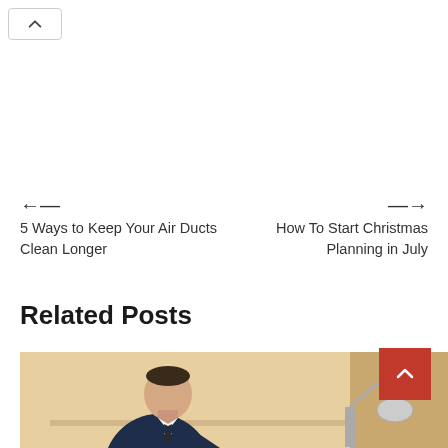[Figure (other): Back navigation button with upward chevron icon at top left]
← 5 Ways to Keep Your Air Ducts Clean Longer
How To Start Christmas Planning in July →
Related Posts
[Figure (photo): Man in dark suit sitting at desk, looking down, with a desk lamp visible to the right, warm background]
[Figure (other): Red scroll-to-top button with upward chevron icon]